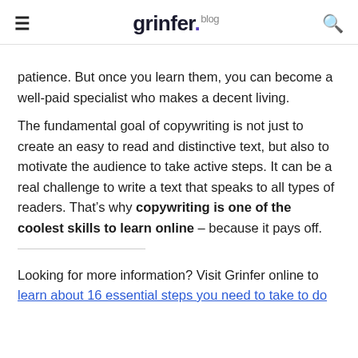grinfer.blog
patience. But once you learn them, you can become a well-paid specialist who makes a decent living.
The fundamental goal of copywriting is not just to create an easy to read and distinctive text, but also to motivate the audience to take active steps. It can be a real challenge to write a text that speaks to all types of readers. That’s why copywriting is one of the coolest skills to learn online – because it pays off.
Looking for more information? Visit Grinfer online to learn about 16 essential steps you need to take to do successful copywriting. This online course is offered by